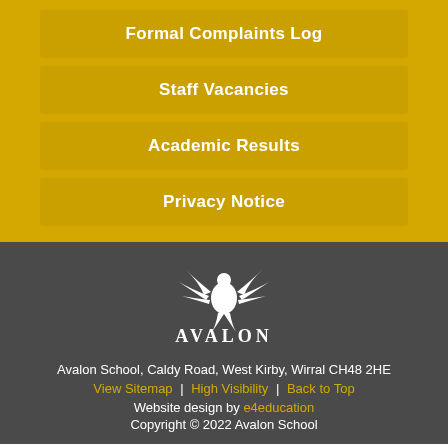Formal Complaints Log
Staff Vacancies
Academic Results
Privacy Notice
[Figure (logo): Avalon School logo — white phoenix bird above the word AVALON in white serif capitals, on dark grey background]
Avalon School, Caldy Road, West Kirby, Wirral CH48 2HE
View Sitemap | High Visibility | Back to Top
Website design by e4education
Copyright © 2022 Avalon School